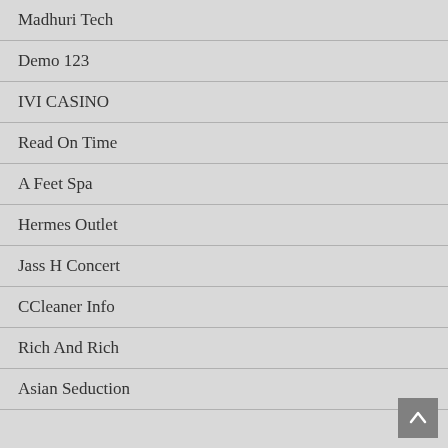Madhuri Tech
Demo 123
IVI CASINO
Read On Time
A Feet Spa
Hermes Outlet
Jass H Concert
CCleaner Info
Rich And Rich
Asian Seduction